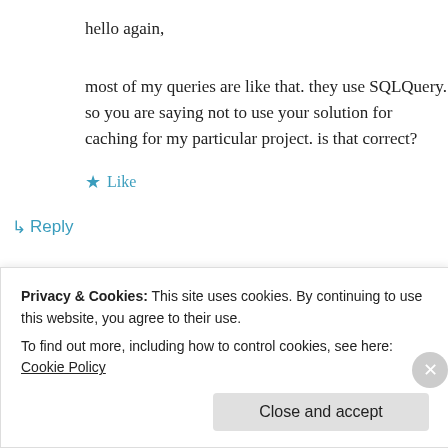hello again,
most of my queries are like that. they use SQLQuery. so you are saying not to use your solution for caching for my particular project. is that correct?
★ Like
↳ Reply
moozzvk on June 28. 2015 at 12:36 pm
Privacy & Cookies: This site uses cookies. By continuing to use this website, you agree to their use. To find out more, including how to control cookies, see here: Cookie Policy
Close and accept